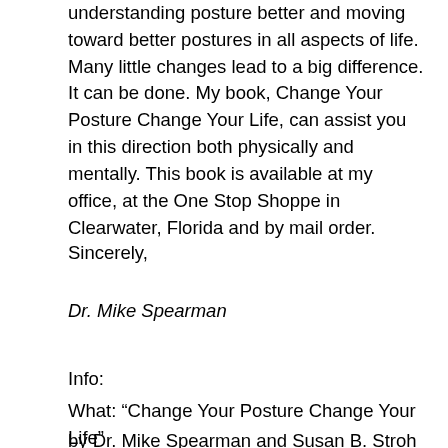understanding posture better and moving toward better postures in all aspects of life. Many little changes lead to a big difference. It can be done. My book, Change Your Posture Change Your Life, can assist you in this direction both physically and mentally. This book is available at my office, at the One Stop Shoppe in Clearwater, Florida and by mail order.
Sincerely,
Dr. Mike Spearman
Info:
What: “Change Your Posture Change Your Life”
by Dr. Mike Spearman and Susan B. Stroh